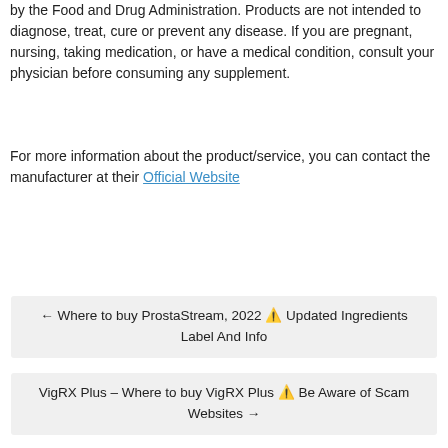by the Food and Drug Administration. Products are not intended to diagnose, treat, cure or prevent any disease. If you are pregnant, nursing, taking medication, or have a medical condition, consult your physician before consuming any supplement.
For more information about the product/service, you can contact the manufacturer at their Official Website
← Where to buy ProstaStream, 2022 ⚠ Updated Ingredients Label And Info
VigRX Plus – Where to buy VigRX Plus ⚠ Be Aware of Scam Websites →